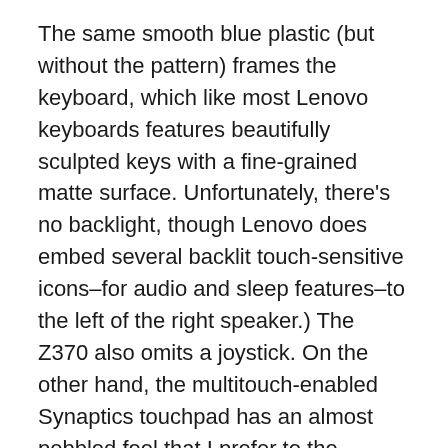The same smooth blue plastic (but without the pattern) frames the keyboard, which like most Lenovo keyboards features beautifully sculpted keys with a fine-grained matte surface. Unfortunately, there's no backlight, though Lenovo does embed several backlit touch-sensitive icons–for audio and sleep features–to the left of the right speaker.) The Z370 also omits a joystick. On the other hand, the multitouch-enabled Synaptics touchpad has an almost pebbled feel that I prefer to the smoother surfaces of other models; it was quite responsive and precise, to the point where I almost didn't miss the wireless mouse I usually use with notebooks.
Aside from the case and CPU options, all Z370 models offer the same hardware: three USB 2.0 ports (one of which also supports e-SATA); 10/100 ethernet; VGA